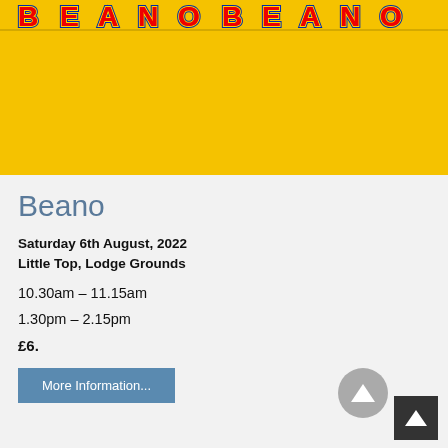[Figure (photo): Beano branded image with yellow background and colorful Beano logo letters at top]
Beano
Saturday 6th August, 2022
Little Top, Lodge Grounds
10.30am – 11.15am
1.30pm – 2.15pm
£6.
More Information...